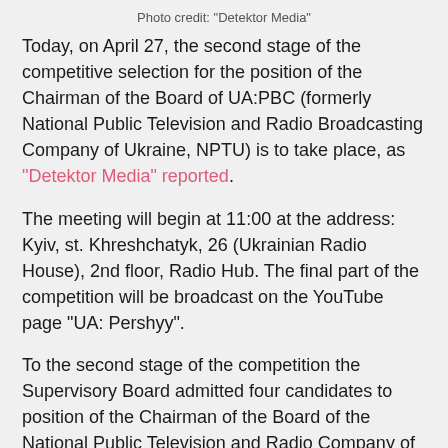Photo credit: "Detektor Media"
Today, on April 27, the second stage of the competitive selection for the position of the Chairman of the Board of UA:PBC (formerly National Public Television and Radio Broadcasting Company of Ukraine, NPTU) is to take place, as "Detektor Media" reported.
The meeting will begin at 11:00 at the address: Kyiv, st. Khreshchatyk, 26 (Ukrainian Radio House), 2nd floor, Radio Hub. The final part of the competition will be broadcast on the YouTube page "UA: Pershyy".
To the second stage of the competition the Supervisory Board admitted four candidates to position of the Chairman of the Board of the National Public Television and Radio Company of Ukraine : Vitaliy Dokalenko, Oksana Tsybula, Mykola Chernotytsky and Andriy